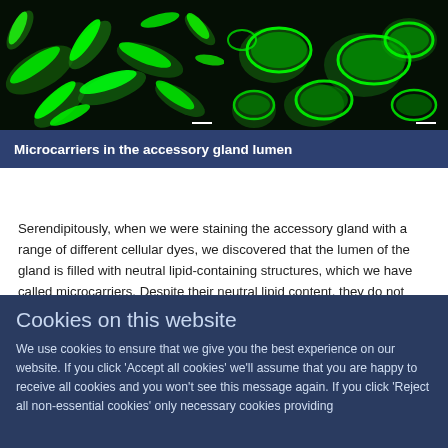[Figure (photo): Two fluorescence microscopy images side by side showing green glowing microcarrier structures against dark background. Left image shows irregular elongated shapes, right image shows more oval/elliptical shapes. White scale bars visible in both images.]
Microcarriers in the accessory gland lumen
Serendipitously, when we were staining the accessory gland with a range of different cellular dyes, we discovered that the lumen of the gland is filled with neutral lipid-containing structures, which we have called microcarriers. Despite their neutral lipid content, they do not form lipid droplets because they are surrounded by interacting proteins that provide a
Cookies on this website
We use cookies to ensure that we give you the best experience on our website. If you click 'Accept all cookies' we'll assume that you are happy to receive all cookies and you won't see this message again. If you click 'Reject all non-essential cookies' only necessary cookies providing